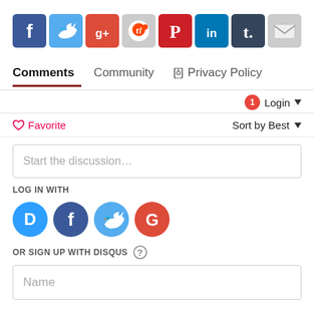[Figure (infographic): Row of social media share buttons: Facebook, Twitter, Google+, Reddit, Pinterest, LinkedIn, Tumblr, Email]
Comments   Community   Privacy Policy
1   Login ▾
♡ Favorite   Sort by Best ▾
Start the discussion…
LOG IN WITH
[Figure (infographic): Login icons: Disqus (D), Facebook (f), Twitter bird, Google (G)]
OR SIGN UP WITH DISQUS ?
Name